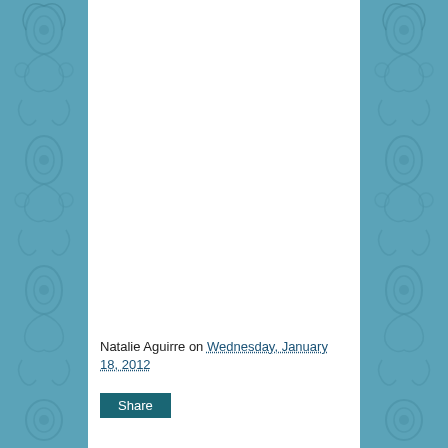[Figure (illustration): Decorative teal/blue damask or baroque pattern on left and right side panels forming the page border/background]
Natalie Aguirre on Wednesday, January 18, 2012
Share